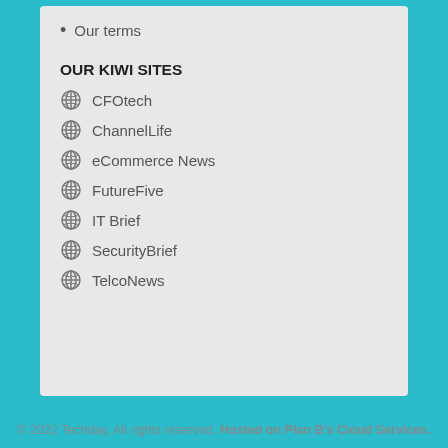Our terms
OUR KIWI SITES
CFOtech
ChannelLife
eCommerce News
FutureFive
IT Brief
SecurityBrief
TelcoNews
© 2022 Techday, All rights reserved. Hosted on Plan B's Cloud Services.